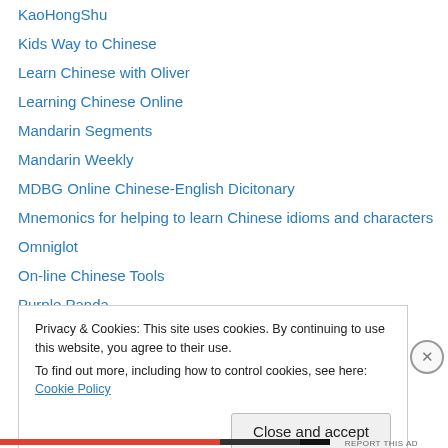KaoHongShu
Kids Way to Chinese
Learn Chinese with Oliver
Learning Chinese Online
Mandarin Segments
Mandarin Weekly
MDBG Online Chinese-English Dicitonary
Mnemonics for helping to learn Chinese idioms and characters
Omniglot
On-line Chinese Tools
Purple Panda
Study More Chinese
WrittenChinese.Com (WCC)
Privacy & Cookies: This site uses cookies. By continuing to use this website, you agree to their use.
To find out more, including how to control cookies, see here: Cookie Policy
Close and accept